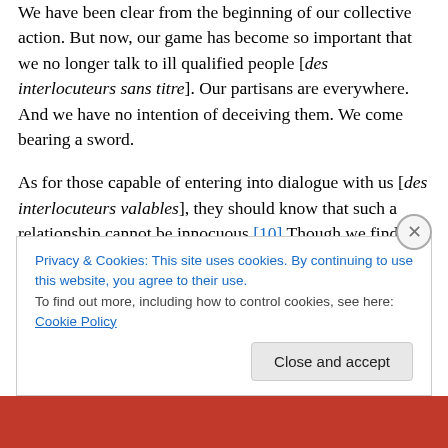We have been clear from the beginning of our collective action. But now, our game has become so important that we no longer talk to ill qualified people [des interlocuteurs sans titre]. Our partisans are everywhere. And we have no intention of deceiving them. We come bearing a sword.
As for those capable of entering into dialogue with us [des interlocuteurs valables], they should know that such a relationship cannot be innocuous.[10] Though we find ourselves at a turning point, and know full well the extent of our mistakes, we can still force any potential ally into an overarching choice: it is necessary to either accept or
Privacy & Cookies: This site uses cookies. By continuing to use this website, you agree to their use.
To find out more, including how to control cookies, see here: Cookie Policy
Close and accept